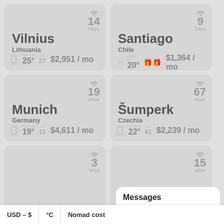[Figure (infographic): City card for Vilnius, Lithuania. WiFi: 14 Mbps. Feels like 25°, actual 25°, AQI 27. Cost: $2,951/mo]
[Figure (infographic): City card for Santiago, Chile. WiFi: 9 Mbps. Cold/snowflake icon. Feels like 21°, actual 20°, gift icons. Cost: $1,364/mo]
[Figure (infographic): City card for Munich, Germany. WiFi: 19 Mbps. Feels like 30°, actual 19°, AQI 12. Cost: $4,611/mo]
[Figure (infographic): City card for Šumperk, Czechia. WiFi: 67 Mbps. Feels like 31°, actual 22°, AQI 61. Cost: $2,239/mo]
[Figure (infographic): Partial city card (bottom left). WiFi: 3 Mbps. Partially visible.]
[Figure (infographic): Partial city card (bottom right). Partially visible, WiFi speed ~15 Mbps shown.]
Messages
USD – $
°C
Nomad cost